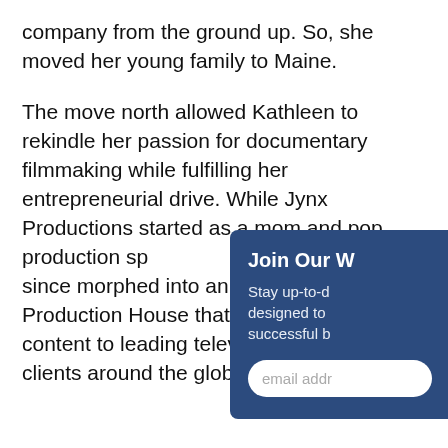company from the ground up. So, she moved her young family to Maine.
The move north allowed Kathleen to rekindle her passion for documentary filmmaking while fulfilling her entrepreneurial drive. While Jynx Productions started as a mom and pop production sp... garage, it has since morphed into an Inte... Media Production House that provides d... content to leading television networks a... clients around the globe.
[Figure (other): Overlay popup box with dark blue background partially covering the main text. Contains heading 'Join Our W' and text 'Stay up-to-d... designed to ... successful b...' and an email address input field.]
Ms. O'Heron is a self-confessed tv junkie, a avid gardener and a rambler with wanderlust. She currently resides in Yarmouth, Maine with her husband and business partner, Johannes Wiebus,